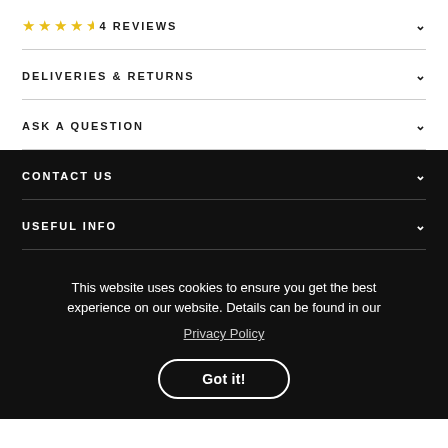4 REVIEWS
DELIVERIES & RETURNS
ASK A QUESTION
CONTACT US
USEFUL INFO
This website uses cookies to ensure you get the best experience on our website. Details can be found in our
Privacy Policy
Got it!